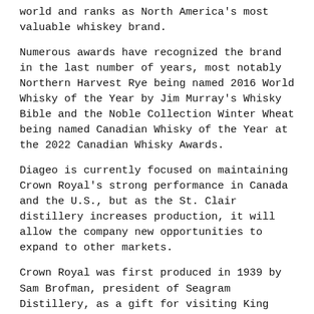world and ranks as North America's most valuable whiskey brand.
Numerous awards have recognized the brand in the last number of years, most notably Northern Harvest Rye being named 2016 World Whisky of the Year by Jim Murray's Whisky Bible and the Noble Collection Winter Wheat being named Canadian Whisky of the Year at the 2022 Canadian Whisky Awards.
Diageo is currently focused on maintaining Crown Royal's strong performance in Canada and the U.S., but as the St. Clair distillery increases production, it will allow the company new opportunities to expand to other markets.
Crown Royal was first produced in 1939 by Sam Brofman, president of Seagram Distillery, as a gift for visiting King George VI and Queen Elizabeth. The blended rye whiskey and its purple bag packaging set a new standard of excellence for Canadian whiskies and remains one of the most notable success stories in the history of the beverage alcohol industry.